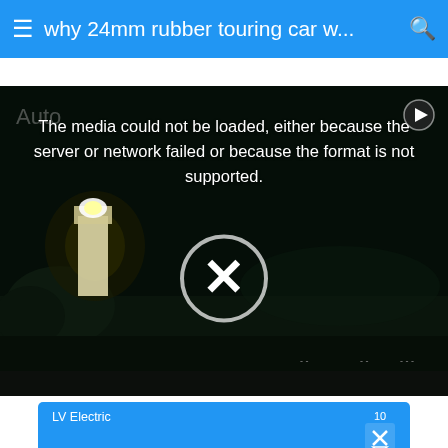≡ why 24mm rubber touring car w... 🔍
[Figure (screenshot): Video player showing a dark nighttime scene with a lighthouse, displaying an error message: 'The media could not be loaded, either because the server or network failed or because the format is not supported.' with a large X circle overlay and a play button in the top right corner.]
[Figure (other): Advertisement for LV Electric with blue background. Shows 'LV Electric' as sponsor name, number '10', close/skip buttons, large bold 'LV Electric' title, and text 'We Provide You with All the Information You Need to Make Informed Decisions.']